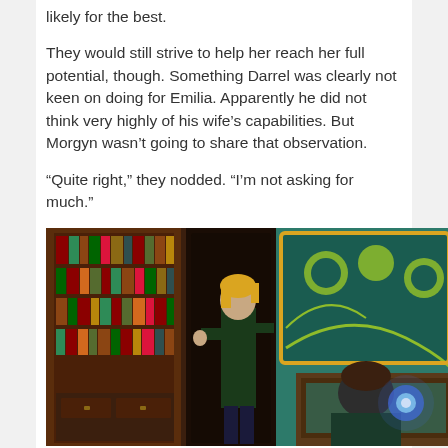likely for the best.
They would still strive to help her reach her full potential, though. Something Darrel was clearly not keen on doing for Emilia. Apparently he did not think very highly of his wife's capabilities. But Morgyn wasn't going to share that observation.
“Quite right,” they nodded. “I’m not asking for much.”
[Figure (screenshot): A video game screenshot showing two characters in a fantasy room with a large ornate bookcase filled with colorful books on the left, and a decorative teal and gold headboard on the right. A character with blonde hair wearing a dark shirt stands facing another character with dark hair. There is a glowing blue orb visible in the scene.]